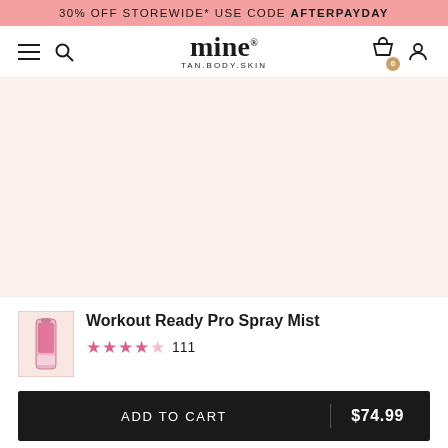30% OFF STOREWIDE* USE CODE AFTERPAYDAY
[Figure (logo): Mine Tan Body Skin logo with hamburger menu, search icon, cart icon, and user icon navigation bar]
[Figure (photo): Product image area with pale pink/peach background, product not fully visible]
Workout Ready Pro Spray Mist
★★★★★ 111
ADD TO CART | $74.99